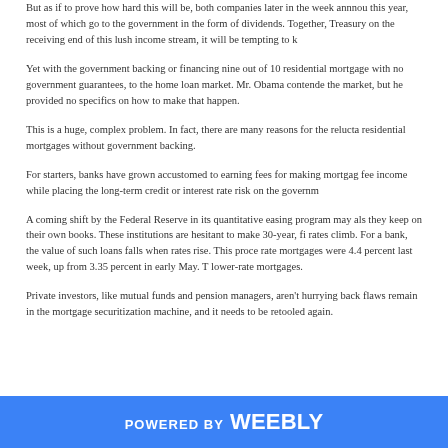But as if to prove how hard this will be, both companies later in the week announced large profits this year, most of which go to the government in the form of dividends. Together, with the Treasury on the receiving end of this lush income stream, it will be tempting to ke…
Yet with the government backing or financing nine out of 10 residential mortgages, with no government guarantees, to the home loan market. Mr. Obama contended the market, but he provided no specifics on how to make that happen.
This is a huge, complex problem. In fact, there are many reasons for the reluctance of residential mortgages without government backing.
For starters, banks have grown accustomed to earning fees for making mortgages fee income while placing the long-term credit or interest rate risk on the government.
A coming shift by the Federal Reserve in its quantitative easing program may also they keep on their own books. These institutions are hesitant to make 30-year, fi rates climb. For a bank, the value of such loans falls when rates rise. This proce rate mortgages were 4.4 percent last week, up from 3.35 percent in early May. T lower-rate mortgages.
Private investors, like mutual funds and pension managers, aren't hurrying back flaws remain in the mortgage securitization machine, and it needs to be retooled again.
POWERED BY weebly